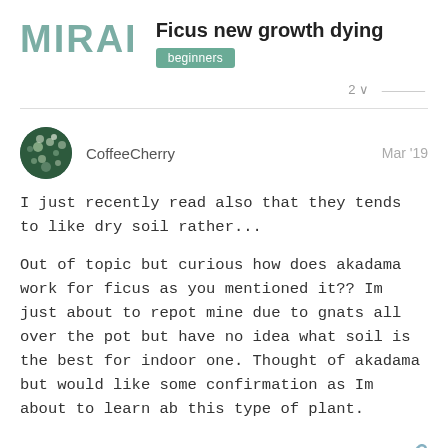MIRAI
Ficus new growth dying
beginners
CoffeeCherry  Mar '19
I just recently read also that they tends to like dry soil rather...

Out of topic but curious how does akadama work for ficus as you mentioned it?? Im just about to repot mine due to gnats all over the pot but have no idea what soil is the best for indoor one. Thought of akadama but would like some confirmation as Im about to learn ab this type of plant.
Skeil